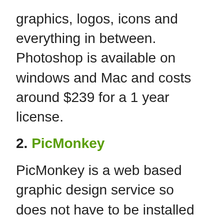graphics, logos, icons and everything in between. Photoshop is available on windows and Mac and costs around $239 for a 1 year license.
2. PicMonkey
PicMonkey is a web based graphic design service so does not have to be installed on your computer. This software comes with over 9000 graphics and textures, hundreds of fonts, graphic design templates, stock photos and videos. All these resources will